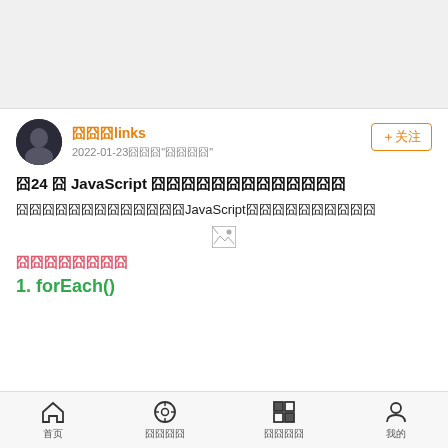[Figure (screenshot): Top gray banner area (header image placeholder)]
囧囧囧links
2022-01-23囧囧囧"囧囧囧囧"
囧24 囧 JavaScript 囧囧囧囧囧囧囧囧囧囧囧囧囧
囧囧囧囧囧囧囧囧囧囧囧囧囧JavaScript囧囧囧囧囧囧囧囧囧囧
[Figure (photo): Broken image placeholder]
囧囧囧囧囧囧囧囧
1. forEach()
首页  囧囧囧囧  囧囧囧囧  我的